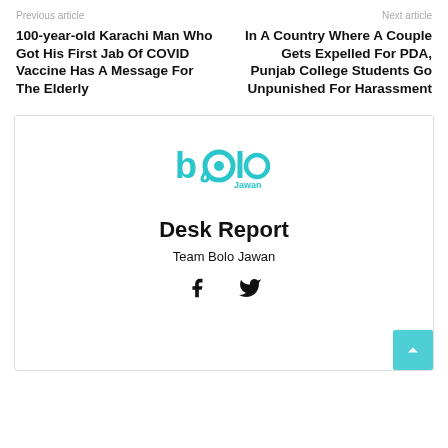Previous article | Next article
100-year-old Karachi Man Who Got His First Jab Of COVID Vaccine Has A Message For The Elderly
In A Country Where A Couple Gets Expelled For PDA, Punjab College Students Go Unpunished For Harassment
[Figure (logo): Bolo Jawan logo in teal/cyan color with stylized text]
Desk Report
Team Bolo Jawan